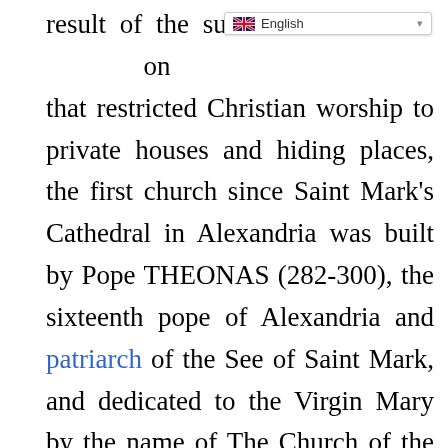[Figure (screenshot): Language selector dropdown showing English with a flag icon]
result of the successive w[aves of persecution] that restricted Christian worship to private houses and hiding places, the first church since Saint Mark's Cathedral in Alexandria was built by Pope THEONAS (282-300), the sixteenth pope of Alexandria and patriarch of the See of Saint Mark, and dedicated to the Virgin Mary by the name of The Church of the Mother of God.

The Coptic church follows established rites for the consecration of patriarchs, bishops, priests, and deacons, and of churches, altars